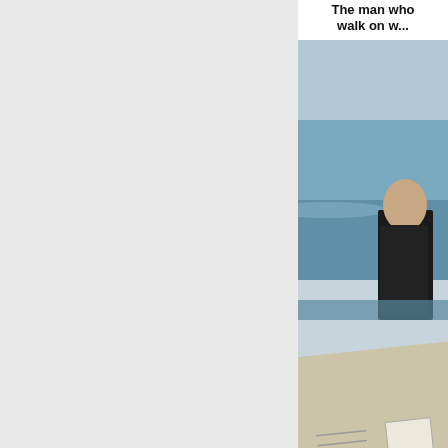[Figure (photo): Partial view of a webpage showing a blog post thumbnail image. The image shows a figure that appears to be Obama walking on water, combined with a reply mail envelope. Text at top reads 'The man who walk on w...' (truncated).]
By W.C. Varones - Novemb...
11.19.2013
Greenspan's B... Karanjit Kaur